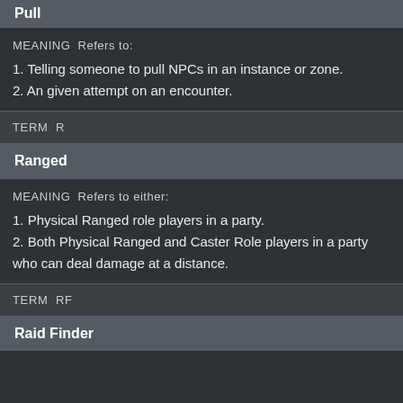Pull
MEANING  Refers to:
1. Telling someone to pull NPCs in an instance or zone.
2. An given attempt on an encounter.
TERM  R
Ranged
MEANING  Refers to either:
1. Physical Ranged role players in a party.
2. Both Physical Ranged and Caster Role players in a party who can deal damage at a distance.
TERM  RF
Raid Finder